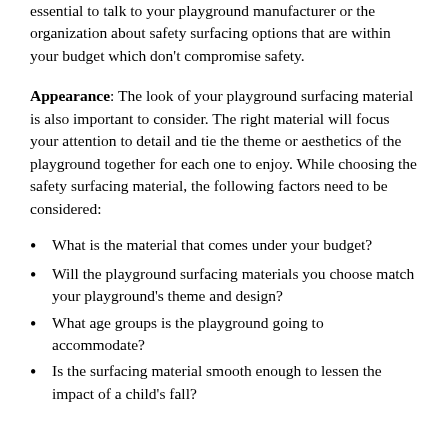essential to talk to your playground manufacturer or the organization about safety surfacing options that are within your budget which don't compromise safety.
Appearance: The look of your playground surfacing material is also important to consider. The right material will focus your attention to detail and tie the theme or aesthetics of the playground together for each one to enjoy. While choosing the safety surfacing material, the following factors need to be considered:
What is the material that comes under your budget?
Will the playground surfacing materials you choose match your playground's theme and design?
What age groups is the playground going to accommodate?
Is the surfacing material smooth enough to lessen the impact of a child's fall?